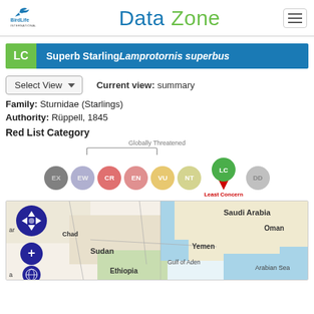BirdLife International Data Zone
LC Superb Starling Lamprotornis superbus
Current view: summary
Family: Sturnidae (Starlings)
Authority: Rüppell, 1845
Red List Category
[Figure (infographic): Red List category scale showing circles: EX, EW, CR, EN, VU, NT, LC (active, with pin and Least Concern label), DD. A brace above labels EX through VU as Globally Threatened.]
[Figure (map): Map showing East Africa region including Chad, Sudan, Ethiopia, Saudi Arabia, Oman, Yemen, Gulf of Aden, Arabian Sea with navigation controls.]